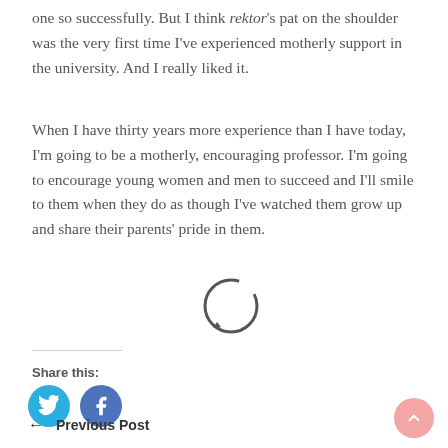one so successfully. But I think rektor's pat on the shoulder was the very first time I've experienced motherly support in the university. And I really liked it.
When I have thirty years more experience than I have today, I'm going to be a motherly, encouraging professor. I'm going to encourage young women and men to succeed and I'll smile to them when they do as though I've watched them grow up and share their parents' pride in them.
[Figure (illustration): A circular refresh/reload arrow icon overlaid on the text]
Share this:
[Figure (illustration): Twitter and Facebook share buttons as blue circles with white icons]
← Previous Post